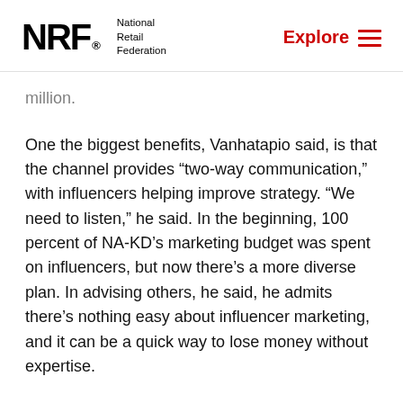NRF National Retail Federation | Explore
million.
One the biggest benefits, Vanhatapio said, is that the channel provides “two-way communication,” with influencers helping improve strategy. “We need to listen,” he said. In the beginning, 100 percent of NA-KD’s marketing budget was spent on influencers, but now there’s a more diverse plan. In advising others, he said, he admits there’s nothing easy about influencer marketing, and it can be a quick way to lose money without expertise.